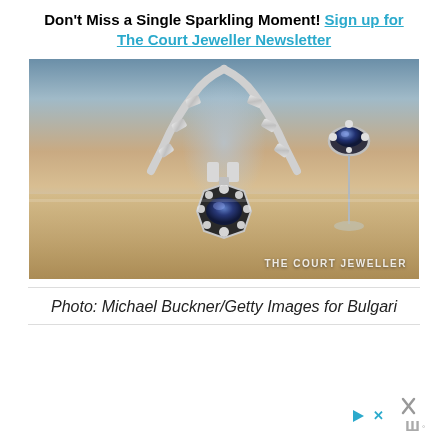Don't Miss a Single Sparkling Moment! Sign up for The Court Jeweller Newsletter
[Figure (photo): A diamond and sapphire necklace displayed in a jewelry case, with a large blue cabochon sapphire pendant and geometric Art Deco design. A sapphire ring on a stand is visible in the upper right. Watermark reads THE COURT JEWELLER.]
Photo: Michael Buckner/Getty Images for Bulgari